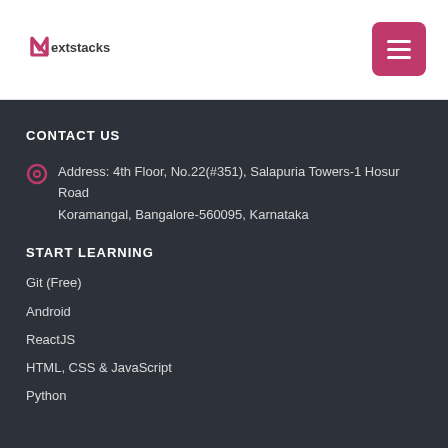Nextstacks
CONTACT US
Address: 4th Floor, No.22(#351), Salapuria Towers-1 Hosur Road Koramangal, Bangalore-560095, Karnataka
START LEARNING
Git (Free)
Android
ReactJS
HTML, CSS & JavaScript
Python